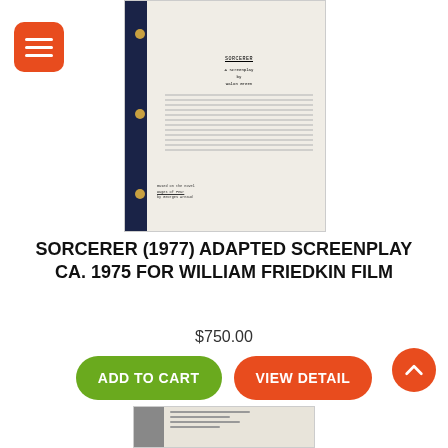[Figure (photo): Photo of a screenplay script in a dark navy binder with brass brads, showing title page with SORCERER text]
SORCERER (1977) ADAPTED SCREENPLAY CA. 1975 FOR WILLIAM FRIEDKIN FILM
$750.00
ADD TO CART
VIEW DETAIL
[Figure (photo): Partial view of a second document page at the bottom of the screen]